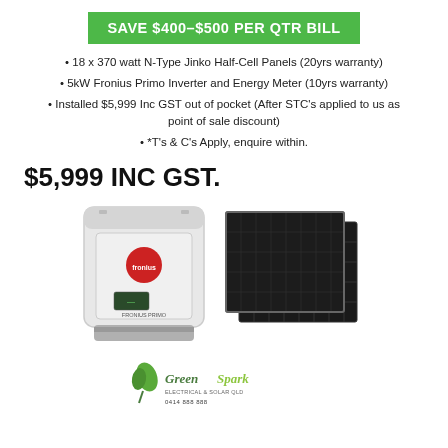SAVE $400-$500 PER QTR BILL
18 x 370 watt N-Type Jinko Half-Cell Panels (20yrs warranty)
5kW Fronius Primo Inverter and Energy Meter (10yrs warranty)
Installed $5,999 Inc GST out of pocket (After STC's applied to us as point of sale discount)
*T's & C's Apply, enquire within.
$5,999 INC GST.
[Figure (photo): Fronius Primo inverter and solar panel product photo]
[Figure (logo): Green Spark Electrical & Solar Qld logo with phone number]